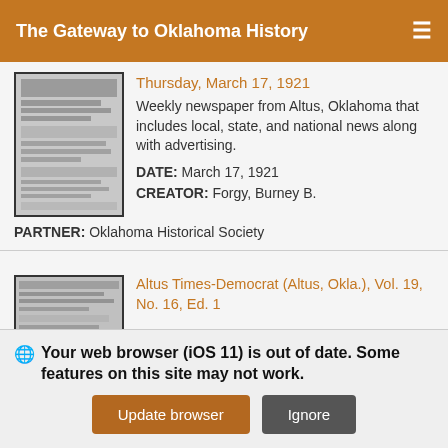The Gateway to Oklahoma History
Thursday, March 17, 1921
Weekly newspaper from Altus, Oklahoma that includes local, state, and national news along with advertising.
DATE: March 17, 1921
CREATOR: Forgy, Burney B.
PARTNER: Oklahoma Historical Society
Altus Times-Democrat (Altus, Okla.), Vol. 19, No. 16, Ed. 1
Your web browser (iOS 11) is out of date. Some features on this site may not work.